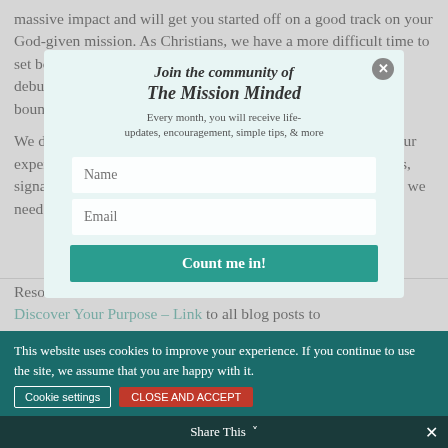massive impact and will get you started off on a good track on your God-given mission. As Christians, we have a more difficult time to set boundaries or even realize we need boundaries. First, we debunk all the lies that you may have believed about setting boundaries.
We define what boundaries are, what it looks like in real life, our experiences of not having boundaries versus having boundaries, signals on when you need boundaries in your life, reasons why we need boundaries, and quick tips on how to set boundaries.
Resources Mentioned:
Discover Your Purpose – Link to all blog posts to
[Figure (screenshot): Modal popup overlay with title 'Join the community of The Mission Minded', subtitle, description text 'Every month, you will receive life-updates, encouragement, simple tips, & more', two input fields (Name, Email), and a 'Count me in!' button. Teal/grey color scheme with X close button.]
This website uses cookies to improve your experience. If you continue to use the site, we assume that you are happy with it.
Share This